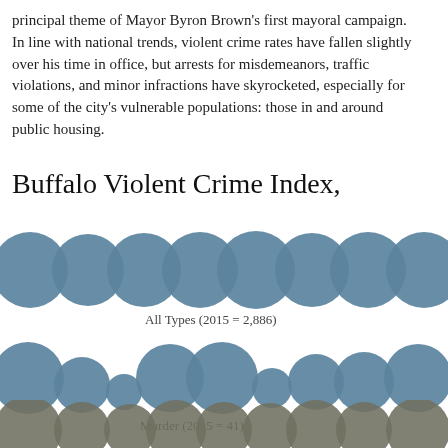principal theme of Mayor Byron Brown's first mayoral campaign. In line with national trends, violent crime rates have fallen slightly over his time in office, but arrests for misdemeanors, traffic violations, and other minor infractions have skyrocketed, especially for some of the city's most vulnerable populations: those in and around public housing.
Buffalo Violent Crime Index,
[Figure (bubble-chart): Row of overlapping blue circles representing All Types violent crime index over years, with 2015 = 2,886 labeled]
All Types (2015 = 2,886)
[Figure (bubble-chart): Row of blue circles of varying sizes representing Murder index over years, with 2015 = 41 labeled]
Murder (2015 = 41)
[Figure (bubble-chart): Row of dark gray/olive circles representing another crime type index, partially visible at bottom of page]